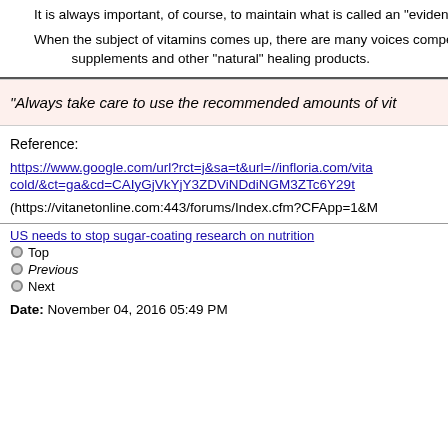It is always important, of course, to maintain what is called an "eviden...
When the subject of vitamins comes up, there are many voices compe... supplements and other "natural" healing products.
"Always take care to use the recommended amounts of vi...
Reference:
https://www.google.com/url?rct=j&sa=t&url=//infloria.com/vita...cold/&ct=ga&cd=CAIyGjVkYjY3ZDViNDdiNGM3ZTc6Y29t...
(https://vitanetonline.com:443/forums/Index.cfm?CFApp=1&M...
US needs to stop sugar-coating research on nutrition
Top
Previous
Next
Date: November 04, 2016 05:49 PM